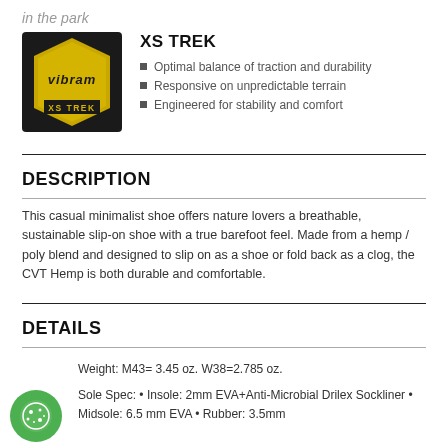in the park
XS TREK
Optimal balance of traction and durability
Responsive on unpredictable terrain
Engineered for stability and comfort
DESCRIPTION
This casual minimalist shoe offers nature lovers a breathable, sustainable slip-on shoe with a true barefoot feel. Made from a hemp / poly blend and designed to slip on as a shoe or fold back as a clog, the CVT Hemp is both durable and comfortable.
DETAILS
Weight: M43= 3.45 oz. W38=2.785 oz.
Sole Spec: • Insole: 2mm EVA+Anti-Microbial Drilex Sockliner • Midsole: 6.5 mm EVA • Rubber: 3.5mm